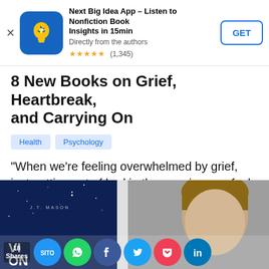[Figure (screenshot): App store advertisement banner for 'Next Big Idea App – Listen to Nonfiction Book Insights in 15min, Directly from the authors', rated 4.5 stars (1,345 reviews), with GET button]
8 New Books on Grief, Heartbreak, and Carrying On
Health
Psychology
“When we’re feeling overwhelmed by grief, just getting out of bed in the morning can feel like a Herculean effort.”
[Figure (photo): Bottom portion of page showing a book cover by J.T. Mason on a blue starry background on the left, and a man's face on grey background on the right, with social sharing buttons at bottom including share count 18, SITO, WhatsApp, Facebook, Twitter, Pocket, and LinkedIn icons]